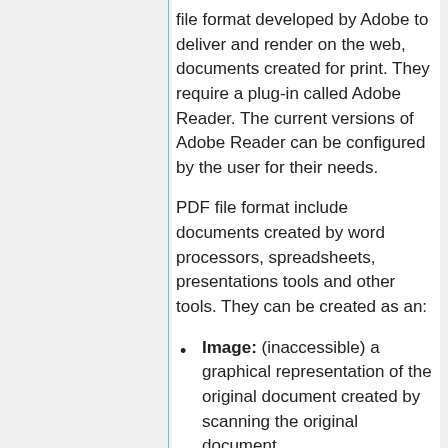file format developed by Adobe to deliver and render on the web, documents created for print. They require a plug-in called Adobe Reader. The current versions of Adobe Reader can be configured by the user for their needs.
PDF file format include documents created by word processors, spreadsheets, presentations tools and other tools. They can be created as an:
Image: (inaccessible) a graphical representation of the original document created by scanning the original document.
Searchable Image: (partially accessible) consisting of an image + text version of the original document. They are usually created from word processor and the other document formats and the text is embedded.